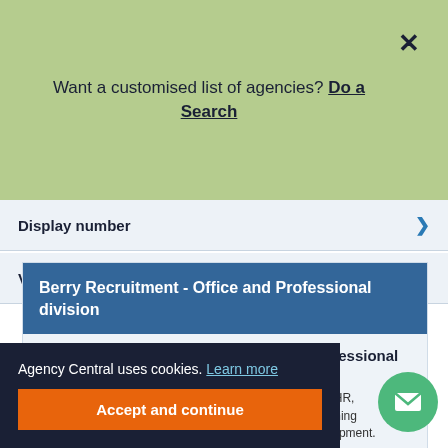Want a customised list of agencies? Do a Search
Display number
Visit website
Berry Recruitment - Office and Professional division
About Berry Recruitment - Office and Professional division
From senior director level to more junior within finance, HR, administration our Office and Professional division matching candidates and roles. We have an specialist teams are development.
Agency Central uses cookies. Learn more
Accept and continue
View detailed information